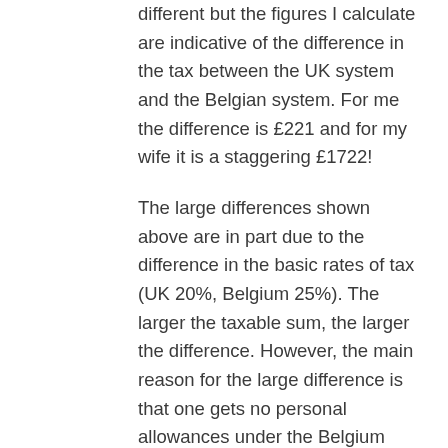different but the figures I calculate are indicative of the difference in the tax between the UK system and the Belgian system. For me the difference is £221 and for my wife it is a staggering £1722!
The large differences shown above are in part due to the difference in the basic rates of tax (UK 20%, Belgium 25%). The larger the taxable sum, the larger the difference. However, the main reason for the large difference is that one gets no personal allowances under the Belgium system unless one's Belgium income is 75% or more than one's total world-wide income. This is